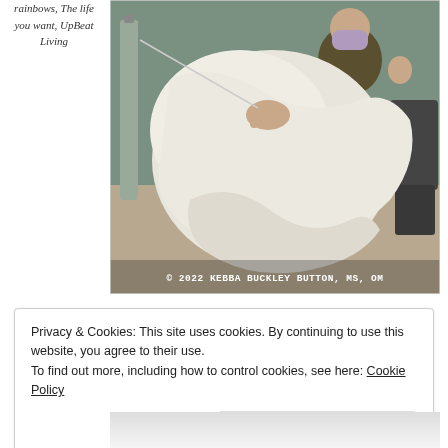rainbows, The life you want, UpBeat Living
[Figure (photo): A patient covered in white blankets/sheets sitting in a hospital chair, with a person wearing a floral top and purple face mask standing behind them. Photo watermark reads: © 2022 KEBBA BUCKLEY BUTTON, MS, OM]
Privacy & Cookies: This site uses cookies. By continuing to use this website, you agree to their use.
To find out more, including how to control cookies, see here: Cookie Policy
Close and accept
[Figure (photo): Partial bottom strip showing another image below]